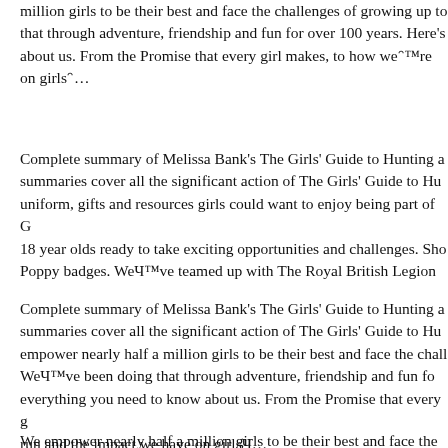...nearly half a million girls to be their best and face the challenges of growing up to... that through adventure, friendship and fun for over 100 years. Here's... about us. From the Promise that every girl makes, to how we’re... on girls…
Complete summary of Melissa Bank's The Girls' Guide to Hunting a... summaries cover all the significant action of The Girls' Guide to Hu... uniform, gifts and resources girls could want to enjoy being part of G... 18 year olds ready to take exciting opportunities and challenges. Sho... Poppy badges. We’ve teamed up with The Royal British Legion...
Complete summary of Melissa Bank's The Girls' Guide to Hunting a... summaries cover all the significant action of The Girls' Guide to Hu... empower nearly half a million girls to be their best and face the chall... We’ve been doing that through adventure, friendship and fun fo... everything you need to know about us. From the Promise that every g... run and the impact we have on girls…
We empower nearly half a million girls to be their best and face the c...